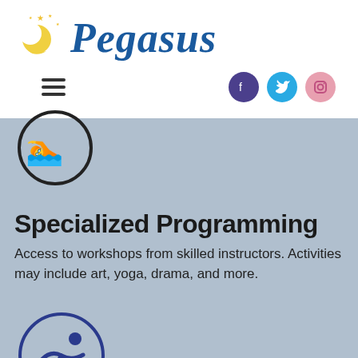[Figure (logo): Pegasus logo with crescent moon and stars icon and stylized blue italic 'PEGASUS' text]
[Figure (infographic): Navigation bar with hamburger menu icon and three social media icons: Facebook (purple), Twitter (blue), Instagram (pink)]
[Figure (illustration): Circular icon with dark outline showing a swimmer silhouette (partially visible at top)]
Specialized Programming
Access to workshops from skilled instructors. Activities may include art, yoga, drama, and more.
[Figure (illustration): Circular icon with blue outline showing a swimmer silhouette in water]